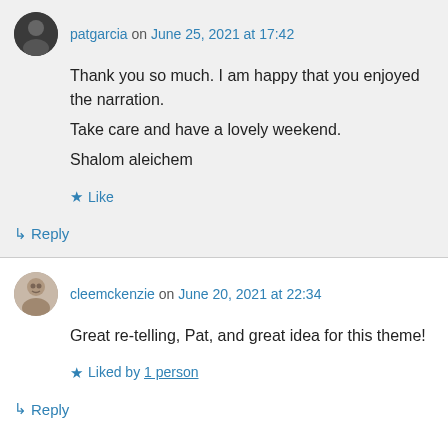patgarcia on June 25, 2021 at 17:42
Thank you so much. I am happy that you enjoyed the narration.
Take care and have a lovely weekend.
Shalom aleichem
Like
Reply
cleemckenzie on June 20, 2021 at 22:34
Great re-telling, Pat, and great idea for this theme!
Liked by 1 person
Reply